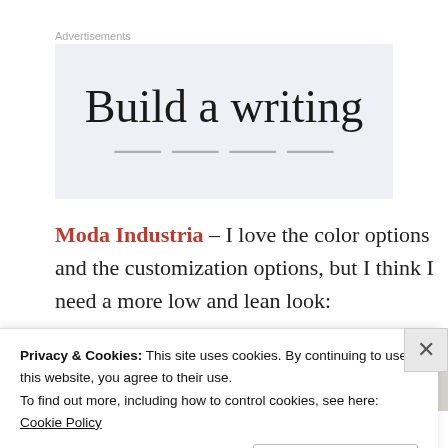Advertisements
[Figure (illustration): Advertisement banner with large serif text reading 'Build a writing' on a light blue-grey background, text is partially cut off at the bottom]
Moda Industria – I love the color options and the customization options, but I think I need a more low and lean look:
[Figure (photo): Partial image strip showing what appears to be a bicycle or similar product, cropped and partially obscured by cookie banner]
Privacy & Cookies: This site uses cookies. By continuing to use this website, you agree to their use.
To find out more, including how to control cookies, see here: Cookie Policy
Close and accept